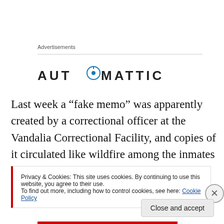Advertisements
[Figure (logo): Automattic logo with circular compass/O icon, all-caps bold spaced lettering: AUT⊙MATTIC]
Last week a “fake memo” was apparently created by a correctional officer at the Vandalia Correctional Facility, and copies of it circulated like wildfire among the inmates as it was accepted as being true. The memo referred to
Privacy & Cookies: This site uses cookies. By continuing to use this website, you agree to their use.
To find out more, including how to control cookies, see here: Cookie Policy
Close and accept